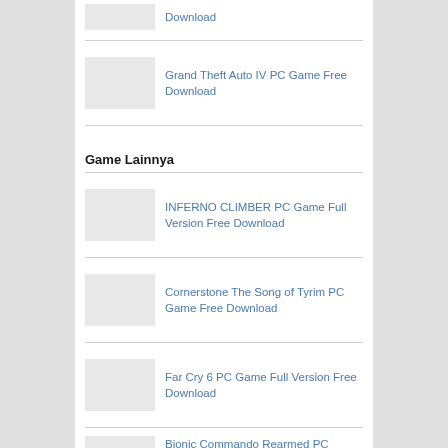Download
Grand Theft Auto IV PC Game Free Download
Game Lainnya
INFERNO CLIMBER PC Game Full Version Free Download
Cornerstone The Song of Tyrim PC Game Free Download
Far Cry 6 PC Game Full Version Free Download
Bionic Commando Rearmed PC Game